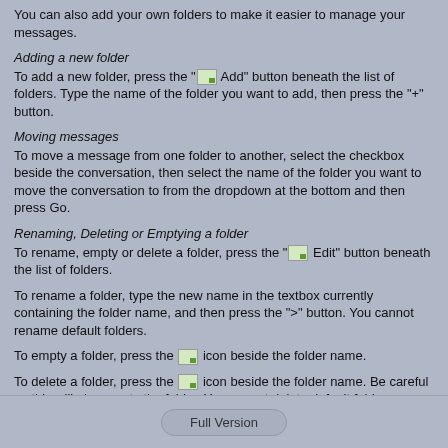You can also add your own folders to make it easier to manage your messages.
Adding a new folder
To add a new folder, press the "Add" button beneath the list of folders. Type the name of the folder you want to add, then press the "+" button.
Moving messages
To move a message from one folder to another, select the checkbox beside the conversation, then select the name of the folder you want to move the conversation to from the dropdown at the bottom and then press Go.
Renaming, Deleting or Emptying a folder
To rename, empty or delete a folder, press the "Edit" button beneath the list of folders.
To rename a folder, type the new name in the textbox currently containing the folder name, and then press the ">" button. You cannot rename default folders.
To empty a folder, press the icon beside the folder name.
To delete a folder, press the icon beside the folder name. Be careful as this will also empty the folder. You cannot delete default folders.
Full Version